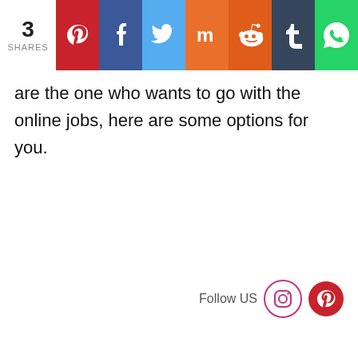3 SHARES [Pinterest] [Facebook] [Twitter] [Mix] [Reddit] [Tumblr] [WhatsApp]
are the one who wants to go with the online jobs, here are some options for you.
Follow US [Instagram] [Pinterest]